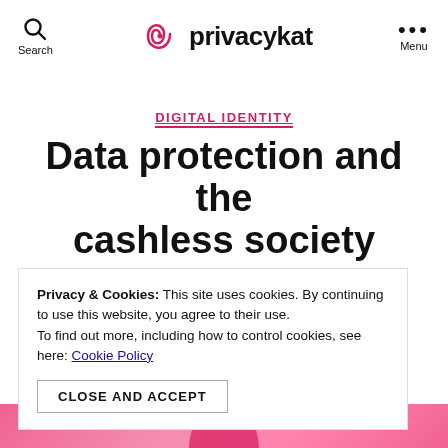Search | privacykat | Menu
DIGITAL IDENTITY
Data protection and the cashless society
Privacy & Cookies: This site uses cookies. By continuing to use this website, you agree to their use. To find out more, including how to control cookies, see here: Cookie Policy
CLOSE AND ACCEPT